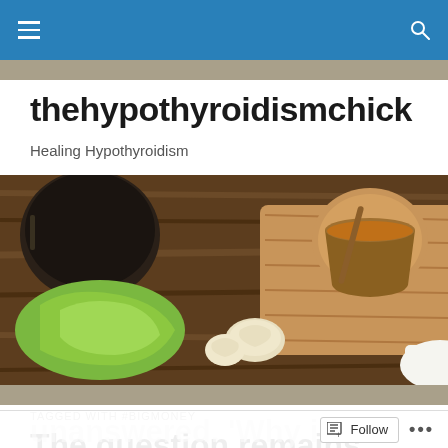thehypothyroidismchick
Healing Hypothyroidism
[Figure (photo): Overhead view of food and tea items on a wooden surface including a cup of tea on a wooden board, green vegetables, garlic cloves, and a dark ceramic pot]
TAGGED WITH #BIGMONEY
The question remains
Unanswered. 'Why is...
Follow